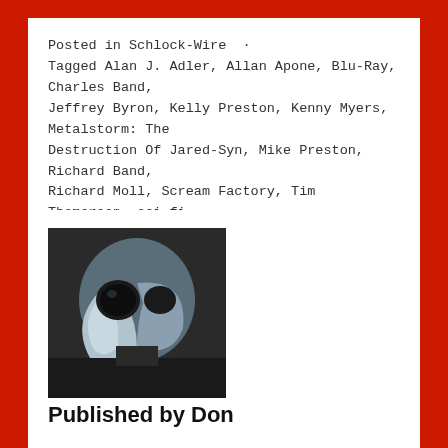Posted in Schlock-Wire  · Tagged Alan J. Adler, Allan Apone, Blu-Ray, Charles Band, Jeffrey Byron, Kelly Preston, Kenny Myers, Metalstorm: The Destruction Of Jared-Syn, Mike Preston, Richard Band, Richard Moll, Scream Factory, Tim Thomerson, sci-fi, science fiction
[Figure (photo): Author photo showing a person wearing a bird-like mask with a large curved blue-grey beak and round eye openings]
Published by Don
Schlockmaniac #1, alias Your Humble Reviewer. The person behind this affront to High Culture is Don Guarisco. He has a BFA Degree in Film from Florida State University and has written professionally